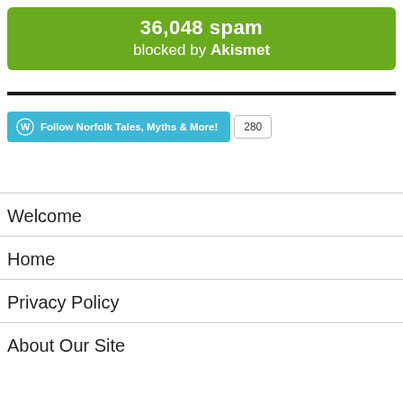[Figure (infographic): Green Akismet banner showing '36,048 spam blocked by Akismet']
[Figure (infographic): WordPress Follow button for Norfolk Tales, Myths & More! with count 280]
Welcome
Home
Privacy Policy
About Our Site